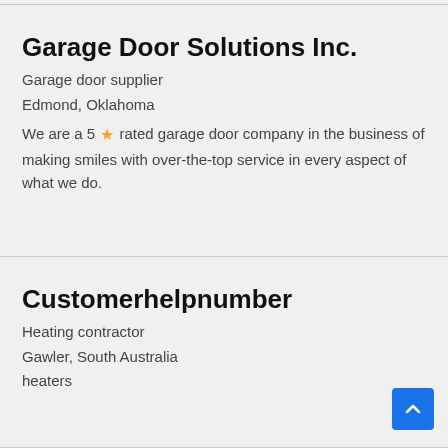Garage Door Solutions Inc.
Garage door supplier
Edmond, Oklahoma
We are a 5 ★ rated garage door company in the business of making smiles with over-the-top service in every aspect of what we do.
Customerhelpnumber
Heating contractor
Gawler, South Australia
heaters